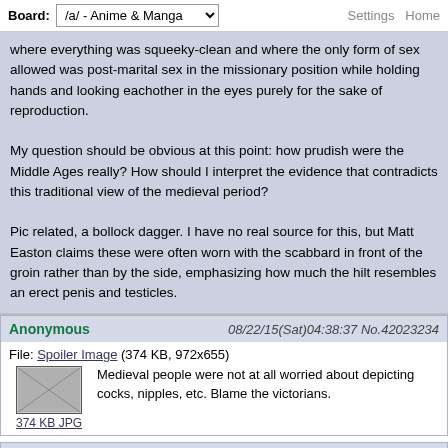Board: /a/ - Anime & Manga | Settings Home
where everything was squeeky-clean and where the only form of sex allowed was post-marital sex in the missionary position while holding hands and looking eachother in the eyes purely for the sake of reproduction.

My question should be obvious at this point: how prudish were the Middle Ages really? How should I interpret the evidence that contradicts this traditional view of the medieval period?

Pic related, a bollock dagger. I have no real source for this, but Matt Easton claims these were often worn with the scabbard in front of the groin rather than by the side, emphasizing how much the hilt resembles an erect penis and testicles.
Anonymous 08/22/15(Sat)04:38:37 No.42023234
File: Spoiler Image (374 KB, 972x655)
374 KB JPG
Medieval people were not at all worried about depicting cocks, nipples, etc. Blame the victorians.
Anonymous 08/22/15(Sat)04:41:24 No.42023261
Chaucer is a pretty good indication of how things were. Jokes about farting, shit and people getting cucked. The same stuff the Romans found funny. The same stuff people today find funny.